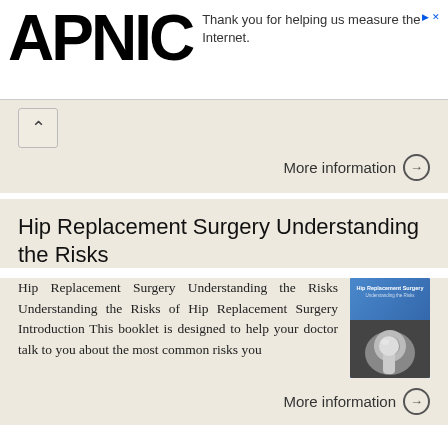[Figure (logo): APNIC logo in large bold black letters, with an ad notice: 'Thank you for helping us measure the Internet.']
More information →
Hip Replacement Surgery Understanding the Risks
Hip Replacement Surgery Understanding the Risks Understanding the Risks of Hip Replacement Surgery Introduction This booklet is designed to help your doctor talk to you about the most common risks you
More information →
SCRIPT NUMBER 82 SPRAINED ANKLE (TWO SPEAKERS)